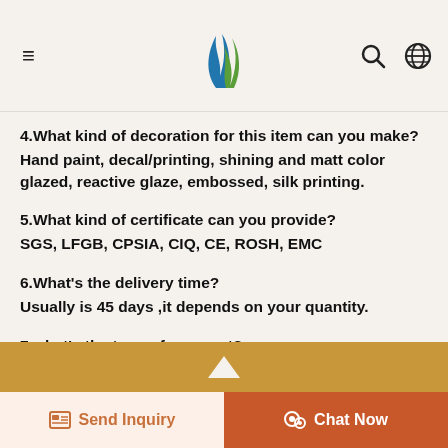[Logo] [Hamburger menu] [Search icon] [Globe icon]
4.What kind of decoration for this item can you make?
Hand paint, decal/printing, shining and matt color glazed, reactive glaze, embossed, silk printing.
5.What kind of certificate can you provide?
SGS, LFGB, CPSIA, CIQ, CE, ROSH, EMC
6.What's the delivery time?
Usually is 45 days ,it depends on your quantity.
7.what's the term of payment?
T/T,L/C, Trade Assurance
Send Inquiry | Chat Now